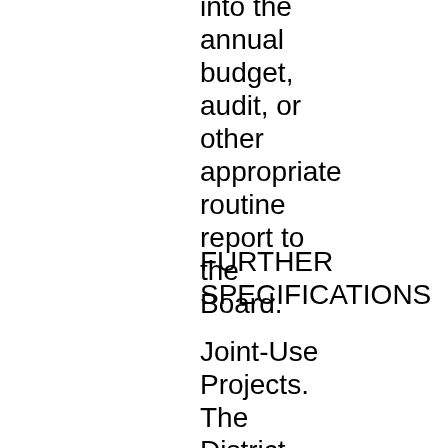into the annual budget, audit, or other appropriate routine report to the Board.
FURTHER SPECIFICATIONS
Joint-Use Projects. The District may enter into agreements with other